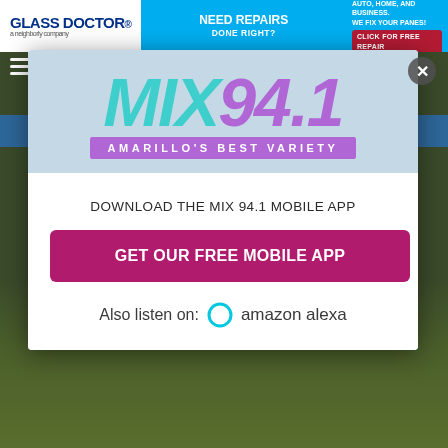[Figure (screenshot): Advertisement banner showing Glass Doctor 'Need Repairs Done Right?' ad with auto, home and business services]
[Figure (logo): MIX 94.1 radio station logo with text 'AMARILLO'S BEST VARIETY' on purple/teal gradient background inside a modal popup]
DOWNLOAD THE MIX 94.1 MOBILE APP
GET OUR FREE MOBILE APP
Also listen on:  amazon alexa